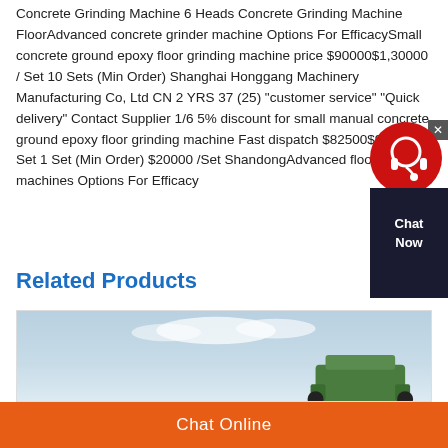Concrete Grinding Machine 6 Heads Concrete Grinding Machine FloorAdvanced concrete grinder machine Options For EfficacySmall concrete ground epoxy floor grinding machine price $90000$1,30000 / Set 10 Sets (Min Order) Shanghai Honggang Machinery Manufacturing Co, Ltd CN 2 YRS 37 (25) "customer service" "Quick delivery" Contact Supplier 1/6 5% discount for small manual concrete ground epoxy floor grinding machine Fast dispatch $82500$92500 / Set 1 Set (Min Order) $20000 /Set ShandongAdvanced floor grinding machines Options For Efficacy
[Figure (other): Chat Now widget with red circular icon and dark background box showing 'Chat Now' text, with X close button]
Related Products
[Figure (photo): Product image showing a machine against a light blue sky background]
Chat Online